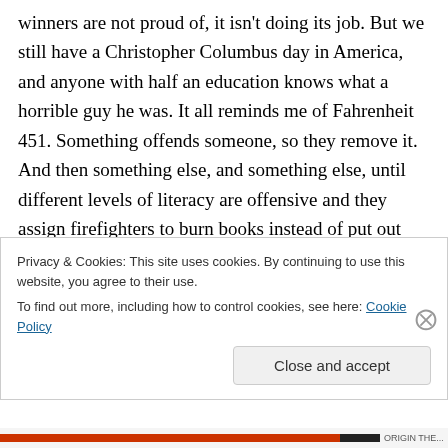winners are not proud of, it isn't doing its job. But we still have a Christopher Columbus day in America, and anyone with half an education knows what a horrible guy he was. It all reminds me of Fahrenheit 451. Something offends someone, so they remove it. And then something else, and something else, until different levels of literacy are offensive and they assign firefighters to burn books instead of put out fires. If we do not understand these things – if we bury them away and hide them – then we are bound to not
Privacy & Cookies: This site uses cookies. By continuing to use this website, you agree to their use.
To find out more, including how to control cookies, see here: Cookie Policy